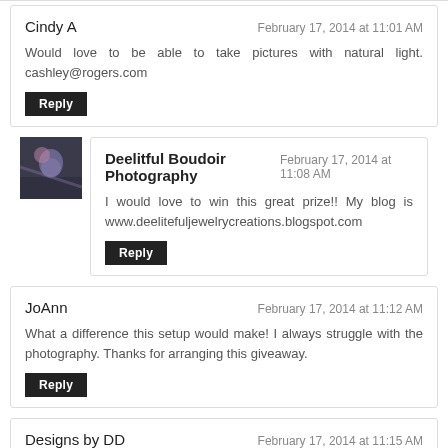Cindy A
February 17, 2014 at 11:01 AM
Would love to be able to take pictures with natural light. cashley@rogers.com
Reply
[Figure (photo): Avatar photo of Deelitful Boudoir Photography commenter]
Deelitful Boudoir Photography
February 17, 2014 at 11:08 AM
I would love to win this great prize!! My blog is www.deelitefuljewelrycreations.blogspot.com
Reply
JoAnn
February 17, 2014 at 11:12 AM
What a difference this setup would make! I always struggle with the photography. Thanks for arranging this giveaway.
Reply
Designs by DD
February 17, 2014 at 11:15 AM